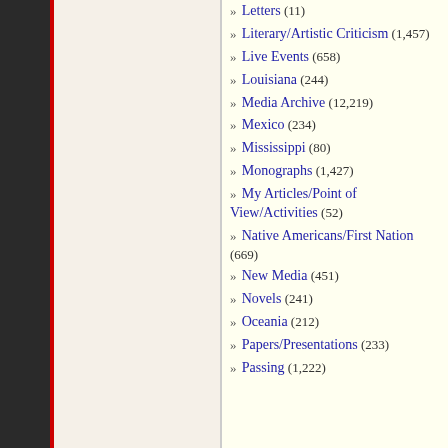» Letters (11)
» Literary/Artistic Criticism (1,457)
» Live Events (658)
» Louisiana (244)
» Media Archive (12,219)
» Mexico (234)
» Mississippi (80)
» Monographs (1,427)
» My Articles/Point of View/Activities (52)
» Native Americans/First Nation (669)
» New Media (451)
» Novels (241)
» Oceania (212)
» Papers/Presentations (233)
» Passing (1,222)